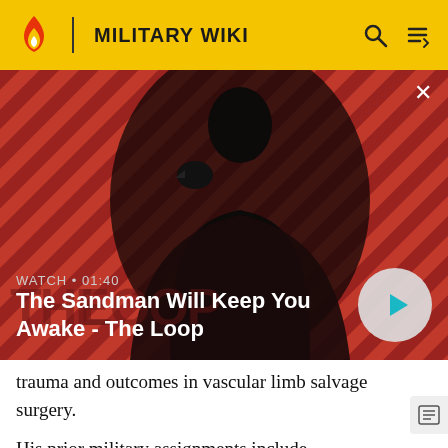MILITARY WIKI
[Figure (screenshot): Video thumbnail showing a dark figure with a raven on shoulder against a red and black diagonal striped background. Text overlay: WATCH • 01:40 and title 'The Sandman Will Keep You Awake - The Loop' with a play button.]
WATCH • 01:40
The Sandman Will Keep You Awake - The Loop
trauma and outcomes in vascular limb salvage surgery.
His prior military assignments include deployments to Saudi Arabia (Operation Desert Storm), Kosovo, Operation Enduring Freedom and Operation Iraqi Freedom. He has